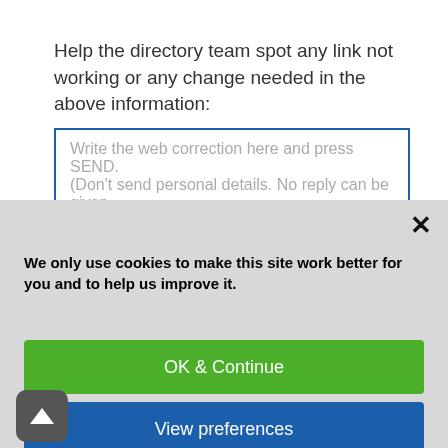Help the directory team spot any link not working or any change needed in the above information:
Write the web correction here and press SEND. (Don't send personal details. No reply can be given
We only use cookies to make this site work better for you and to help us improve it.
OK & Continue
View preferences
Cookies policy   Privacy Policy